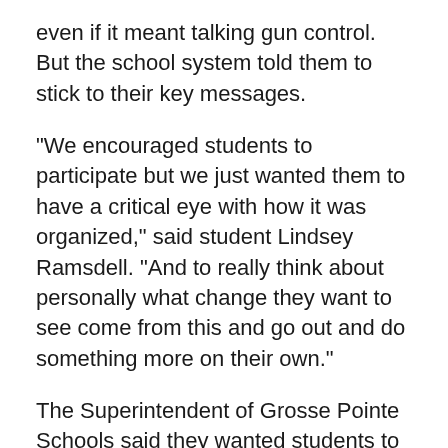even if it meant talking gun control.  But the school system told them to stick to their key messages.
"We encouraged students to participate but we just wanted them to have a critical eye with how it was organized," said student Lindsey Ramsdell. "And to really think about personally what change they want to see come from this and go out and do something more on their own."
The Superintendent of Grosse Pointe Schools said they wanted students to rally for stronger and more secure schools and to support the victims of the Parkland shooting.
FOX 2: They felt like they weren't able to fully express their opinions like gun control and other issues.  How do you respond to the students?